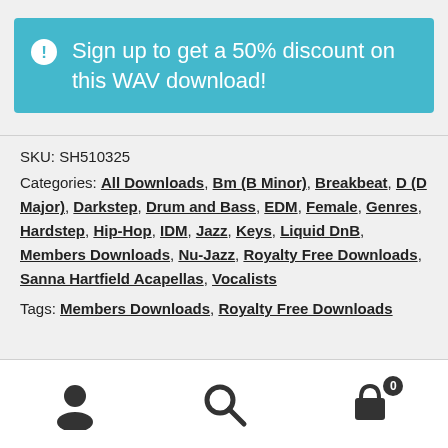Sign up to get a 50% discount on this WAV download!
SKU: SH510325
Categories: All Downloads, Bm (B Minor), Breakbeat, D (D Major), Darkstep, Drum and Bass, EDM, Female, Genres, Hardstep, Hip-Hop, IDM, Jazz, Keys, Liquid DnB, Members Downloads, Nu-Jazz, Royalty Free Downloads, Sanna Hartfield Acapellas, Vocalists
Tags: Members Downloads, Royalty Free Downloads
User icon, Search icon, Cart icon with 0 items